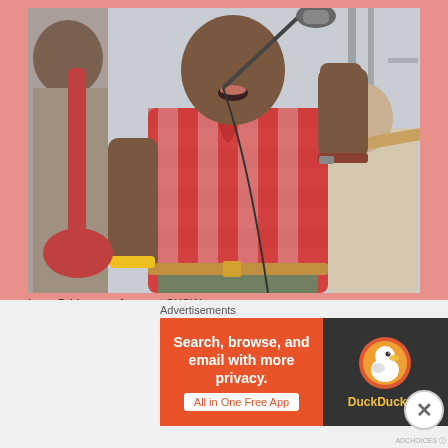[Figure (photo): Leon Bridges performing on stage at SXSW. A Black man in a red and white checkered polo shirt sings into a microphone stand, raising his right fist. He wears a brown belt and has a yellow wristband. Another musician with a guitar is visible in the background. The scene is outdoors with scaffolding visible.]
Leon Bridges performs at SXSW
So how does the  future look  for Leon Bridges ? The blueprint so far looks great for this young recording artist and
Advertisements
[Figure (screenshot): DuckDuckGo advertisement banner. Left side is orange with text: 'Search, browse, and email with more privacy. All in One Free App'. Right side is dark with the DuckDuckGo duck logo and 'DuckDuckGo' text in yellow.]